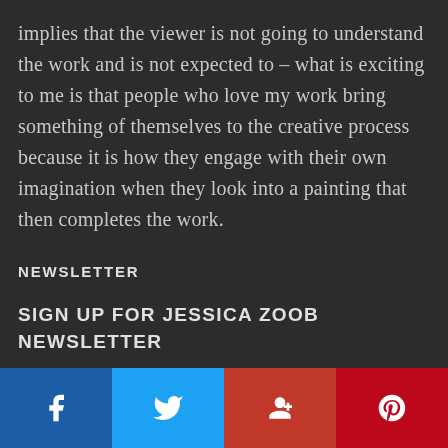implies that the viewer is not going to understand the work and is not expected to – what is exciting to me is that people who love my work bring something of themselves to the creative process because it is how they engage with their own imagination when they look into a painting that then completes the work.
NEWSLETTER
SIGN UP FOR JESSICA ZOOB NEWSLETTER
SUBSCRIBE
Facebook | Twitter | Google+ | Pinterest